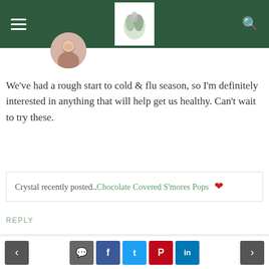Navigation header with menu, logo, and search
[Figure (photo): Circular avatar photo of Crystal, a smiling woman]
We've had a rough start to cold & flu season, so I'm definitely interested in anything that will help get us healthy. Can't wait to try these.
Crystal recently posted.. Chocolate Covered S'mores Pops
REPLY
[Figure (photo): Circular avatar photo of TerriAnn, a smiling Asian woman]
TerriAnn @ Cookies & Clogs
December 14, 2014 at 5:20 am
Well, Aveeno is definitely my must-have, especially
Navigation and social share buttons: previous, comment, facebook, twitter, pinterest, linkedin, next